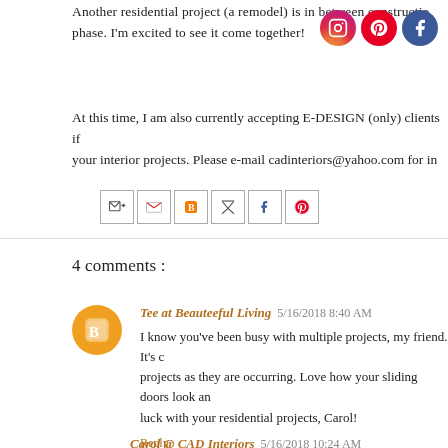Another residential project (a remodel) is in between constructio phase. I'm excited to see it come together!
[Figure (logo): Instagram, Pinterest, and Facebook social media icons (circular colored logos)]
At this time, I am also currently accepting E-DESIGN (only) clients if your interior projects. Please e-mail cadinteriors@yahoo.com for in
[Figure (infographic): Share bar with email/forward icon and social share buttons: Gmail, Blogger, Twitter, Facebook, Pinterest]
4 comments :
Tee at Beauteeful Living 5/16/2018 8:40 AM
I know you've been busy with multiple projects, my friend. It's c projects as they are occurring. Love how your sliding doors look an luck with your residential projects, Carol!
Reply
Carol @ CAD Interiors 5/16/2018 10:24 AM
Thanks so much, Tee! Life has definitely been a juggling act! Th projects have taken a back seat to design projects, but I'm thankful f
Reply